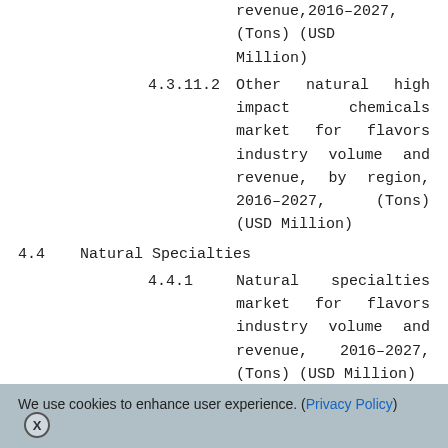revenue,2016–2027, (Tons) (USD Million)
4.3.11.2     Other natural high impact chemicals market for flavors industry volume and revenue, by region, 2016–2027, (Tons) (USD Million)
4.4  Natural Specialties
4.4.1      Natural specialties market for flavors industry volume and revenue, 2016–2027, (Tons) (USD Million)
4.4.2      Natural specialties market for flavors industry volume and revenue
We use cookies to enhance user experience. (Privacy Policy)  X